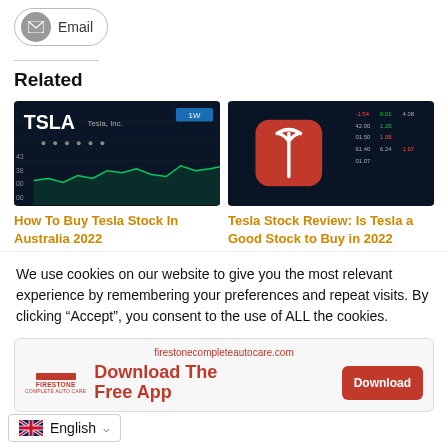[Figure (other): Email share button with envelope icon]
Related
[Figure (photo): TSLA stock chart on dark background showing green line chart with TSLA ticker]
[Figure (photo): Tesla app icon (red rounded square with Tesla T logo) on dark stock market background]
How To Buy Tesla Stock In Australia 2022
Tesla Stock Review: Is Tesla a Good Stock to Buy in 2022
We use cookies on our website to give you the most relevant experience by remembering your preferences and repeat visits. By clicking “Accept”, you consent to the use of ALL the cookies.
[Figure (screenshot): Firestone Complete Auto Care ad banner with Download The Free App text and Download button]
English